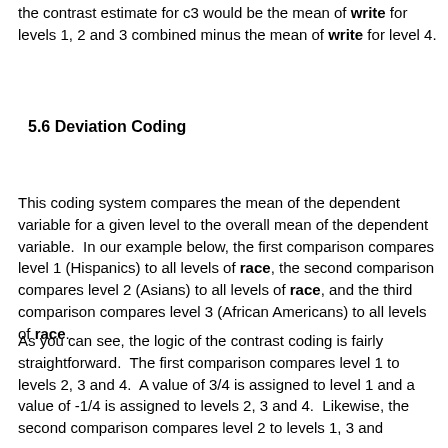the contrast estimate for c3 would be the mean of write for levels 1, 2 and 3 combined minus the mean of write for level 4.
5.6 Deviation Coding
This coding system compares the mean of the dependent variable for a given level to the overall mean of the dependent variable. In our example below, the first comparison compares level 1 (Hispanics) to all levels of race, the second comparison compares level 2 (Asians) to all levels of race, and the third comparison compares level 3 (African Americans) to all levels of race.
As you can see, the logic of the contrast coding is fairly straightforward. The first comparison compares level 1 to levels 2, 3 and 4. A value of 3/4 is assigned to level 1 and a value of -1/4 is assigned to levels 2, 3 and 4. Likewise, the second comparison compares level 2 to levels 1, 3 and